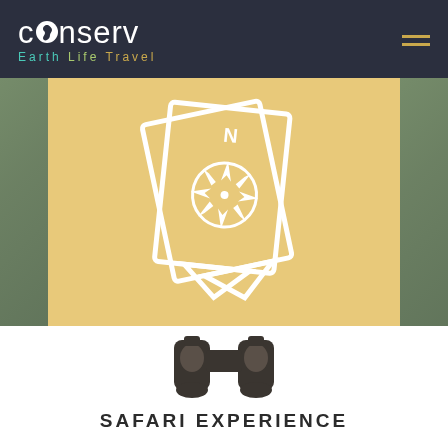[Figure (logo): Conserv logo with Africa continent silhouette replacing letter 'o', with tagline 'Earth Life Travel' in colored text on dark navy header]
[Figure (illustration): Sandy/golden hero banner with white compass/map book icon in center, flanked by blurred green nature photography on sides]
[Figure (illustration): Dark binoculars icon on white background]
SAFARI EXPERIENCE